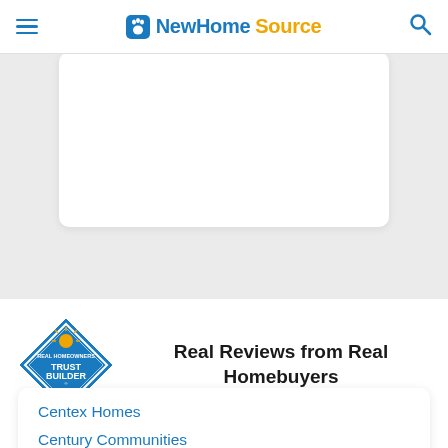NewHomeSource navigation bar with hamburger menu, logo, and search icon
[Figure (screenshot): White card placeholder in gray background area]
[Figure (logo): TrustBuilder - Real Homeowners Honest Reviews badge logo in blue and gold]
Real Reviews from Real Homebuyers
Centex Homes
Century Communities
Coventry Homes